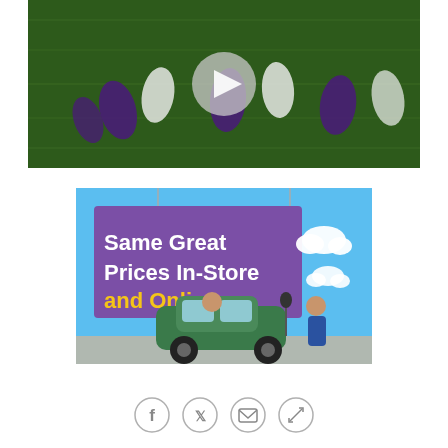[Figure (screenshot): Football game video thumbnail with play button overlay, players on field in purple and white uniforms on green field]
[Figure (illustration): Advertisement showing a purple sign reading 'Same Great Prices In-Store and Online.' with yellow text for 'and Online.' Against a blue sky background with cartoon car and characters doing curbside pickup]
[Figure (infographic): Social sharing icons row: Facebook, Twitter, Email, and Link/Chain icons in gray circle outlines]